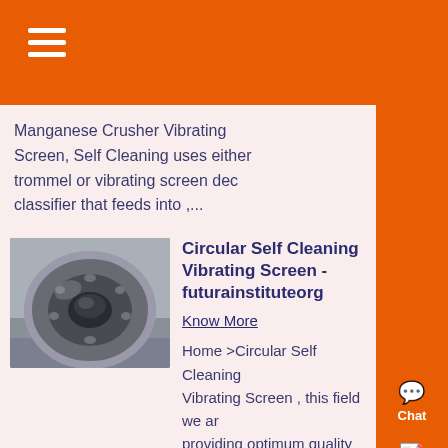Manganese Crusher Vibrating Screen, Self Cleaning uses either trommel or vibrating screen dec classifier that feeds into ,...
[Figure (photo): Photo of a large spherical roller bearing, metallic, on a surface]
Circular Self Cleaning Vibrating Screen - futurainstituteorg
Know More
Home >Circular Self Cleaning Vibrating Screen , this field we are providing optimum quality Gyrator Screen Separator This has self cleaning function & can be ....